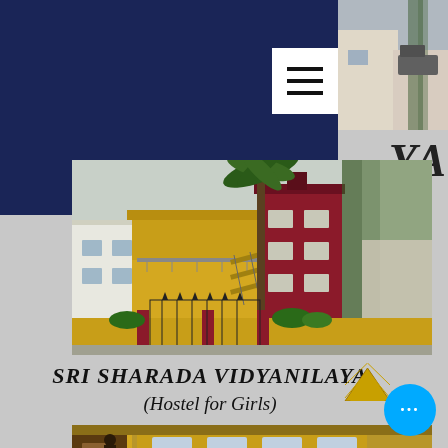[Figure (photo): Dark navy blue header bar on the left portion of the page top]
[Figure (photo): Top-right corner showing a partial exterior photo of a building with trees and a vehicle]
[Figure (photo): Main photo of Sri Sharada Vidyanilayam hostel building — a two-storey yellow and dark red/maroon building with iron gate, stairs, and palm trees]
SRI SHARADA VIDYANILAYAM
(Hostel for Girls)
[Figure (photo): Partial bottom photo showing interior or another view of the hostel building]